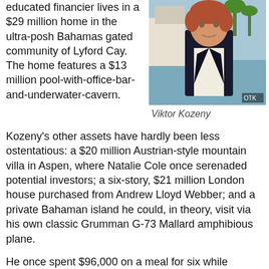educated financier lives in a $29 million home in the ultra-posh Bahamas gated community of Lyford Cay. The home features a $13 million pool-with-office-bar-and-underwater-cavern.
[Figure (photo): Photo of Viktor Kozeny, a man with reddish-brown hair wearing a dark suit and white shirt, standing outdoors with tropical scenery and water in the background. A watermark 'OTK' appears in the lower right corner.]
Viktor Kozeny
Kozeny's other assets have hardly been less ostentatious: a $20 million Austrian-style mountain villa in Aspen, where Natalie Cole once serenaded potential investors; a six-story, $21 million London house purchased from Andrew Lloyd Webber; and a private Bahaman island he could, in theory, visit via his own classic Grumman G-73 Mallard amphibious plane.
He once spent $96,000 on a meal for six while traveling the world in a private jet, Bloomberg reported.